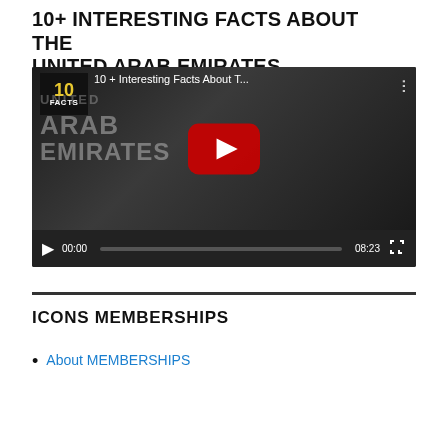10+ INTERESTING FACTS ABOUT THE UNITED ARAB EMIRATES
[Figure (screenshot): YouTube video thumbnail and player showing '10 + Interesting Facts About T...' with a YouTube play button overlay on a dark thumbnail featuring Arabic text 'ARAB EMIRATES' and a man in a white headscarf. Video controls show 00:00 current time and 08:23 total duration.]
ICONS MEMBERSHIPS
About MEMBERSHIPS